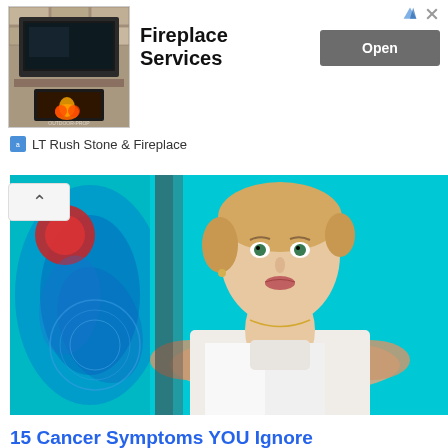[Figure (screenshot): Advertisement banner for Fireplace Services by LT Rush Stone & Fireplace with an image of a stone fireplace on the left, bold text 'Fireplace Services' in the center, and an 'Open' button on the right. Small logo and brand name below.]
[Figure (photo): Main hero image: a woman in a white jacket looking upward while hands (possibly a doctor's) are placed on her neck/throat, against a teal/turquoise background. On the left side there's a stylized anatomical/cancer illustration in blue and red.]
15 Cancer Symptoms YOU Ignore
anymuscle.com
[Figure (photo): Bottom row showing two partial images of long-haired people (a woman on the left, a man on the right) against blue/sky backgrounds.]